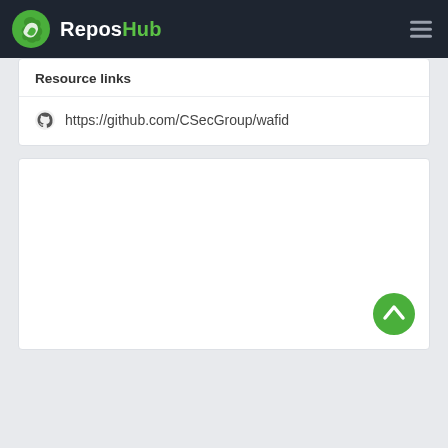ReposHub
Resource links
https://github.com/CSecGroup/wafid
[Figure (other): Large empty white card with a green scroll-to-top button in the bottom right corner]